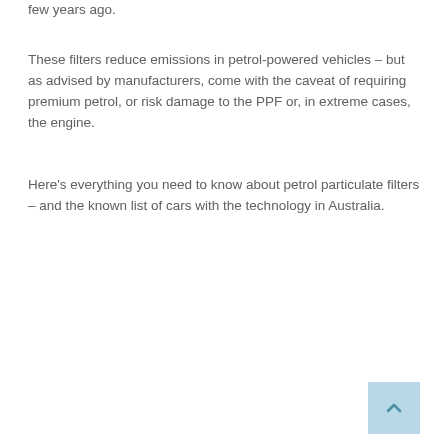few years ago.
These filters reduce emissions in petrol-powered vehicles – but as advised by manufacturers, come with the caveat of requiring premium petrol, or risk damage to the PPF or, in extreme cases, the engine.
Here's everything you need to know about petrol particulate filters – and the known list of cars with the technology in Australia.